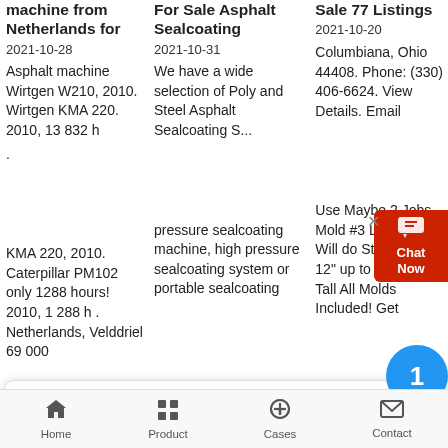machine from Netherlands for
2021-10-28
Asphalt machine Wirtgen W210, 2010. Wirtgen KMA 220. 2010, 13 832 h
.
KMA 220, 2010. Caterpillar PM102 only 1288 hours! 2010, 1 288 h . Netherlands, Velddriel 69 000
For Sale Asphalt Sealcoating
2021-10-31  We have a wide selection of Poly and Steel Asphalt Sealcoating S...
pressure sealcoating machine, high pressure sealcoating system or portable sealcoating
Sale 77 Listings
2021-10-20
Columbiana, Ohio 44408. Phone: (330) 406-6624. View Details. Email
Use Maybe 2 Jobs Mold #3 Like N... Will do Straight Curb 12" up to 18" or 20" Tall All Molds Included! Get
[Figure (screenshot): Chat Now widget — red box with chat bubble icon and text 'Chat Now', positioned at right edge]
[Figure (screenshot): Chat popup overlay with agent named Davina, avatar circle, close X button, message: 'Welcome! Now our on-line service is chatting with you! Please choose the language :']
[Figure (infographic): Blue circular notification badge with number 1]
Home   Product   Cases   Contact